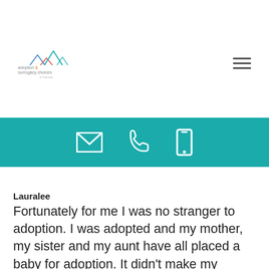adoption & surrogacy choices of Colorado
[Figure (illustration): Teal contact bar with envelope, phone, and mobile phone icons]
Lauralee
Fortunately for me I was no stranger to adoption. I was adopted and my mother, my sister and my aunt have all placed a baby for adoption. It didn't make my decision any easier, I was just more familiar